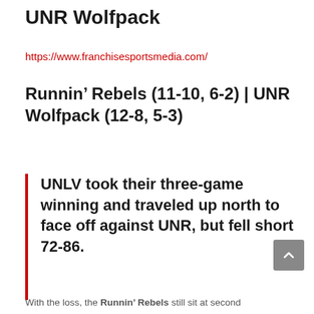UNR Wolfpack
https://www.franchisesportsmedia.com/
Runnin’ Rebels (11-10, 6-2) | UNR Wolfpack (12-8, 5-3)
UNLV took their three-game winning and traveled up north to face off against UNR, but fell short 72-86.
With the loss, the Runnin’ Rebels still sit at second